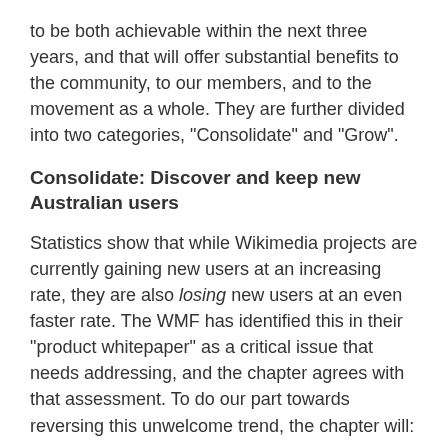to be both achievable within the next three years, and that will offer substantial benefits to the community, to our members, and to the movement as a whole. They are further divided into two categories, "Consolidate" and "Grow".
Consolidate: Discover and keep new Australian users
Statistics show that while Wikimedia projects are currently gaining new users at an increasing rate, they are also losing new users at an even faster rate. The WMF has identified this in their "product whitepaper" as a critical issue that needs addressing, and the chapter agrees with that assessment. To do our part towards reversing this unwelcome trend, the chapter will:
participate fully in the "1 to 100 edit experience" project being run by the Wikimedia Foundation;
seek technical assistance to identify both new and